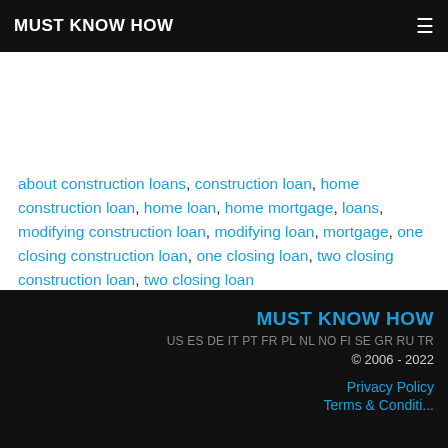MUST KNOW HOW
about construction loans, construction loan, home construction loan, home loan, home mortgage, loans, modifying construction loan, modifying loan, mortgage, one closing construction loan, one closing loan, two closing construction loan, two closing loan
MUST KNOW HOW
US ES DE IT PT FR PL NL NO FI SE GR RU TR
© 2006 - 2022
Privacy Policy
Terms & Conditions